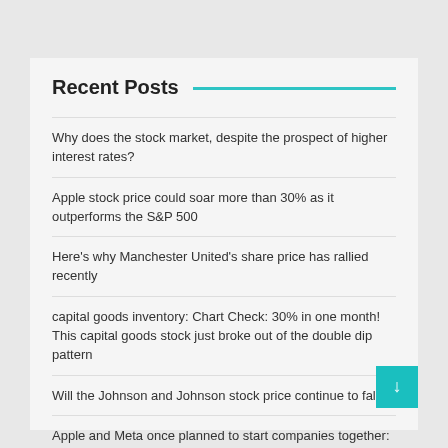Recent Posts
Why does the stock market, despite the prospect of higher interest rates?
Apple stock price could soar more than 30% as it outperforms the S&P 500
Here's why Manchester United's share price has rallied recently
capital goods inventory: Chart Check: 30% in one month! This capital goods stock just broke out of the double dip pattern
Will the Johnson and Johnson stock price continue to fall?
Apple and Meta once planned to start companies together: report | Company News